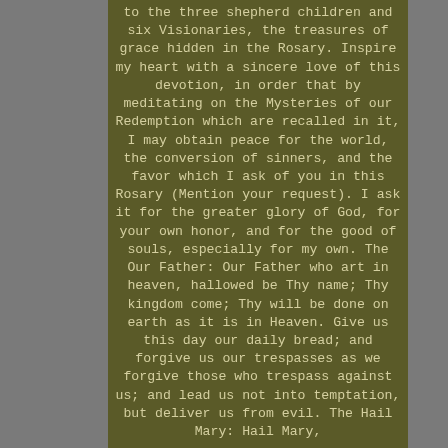to the three shepherd children and six Visionaries, the treasures of grace hidden in the Rosary. Inspire my heart with a sincere love of this devotion, in order that by meditating on the Mysteries of our Redemption which are recalled in it, I may obtain peace for the world, the conversion of sinners, and the favor which I ask of you in this Rosary (Mention your request). I ask it for the greater glory of God, for your own honor, and for the good of souls, especially for my own. The Our Father: Our Father who art in heaven, hallowed be Thy name; Thy kingdom come; Thy will be done on earth as it is in Heaven. Give us this day our daily bread; and forgive us our trespasses as we forgive those who trespass against us; and lead us not into temptation, but deliver us from evil. The Hail Mary: Hail Mary, full of grace...